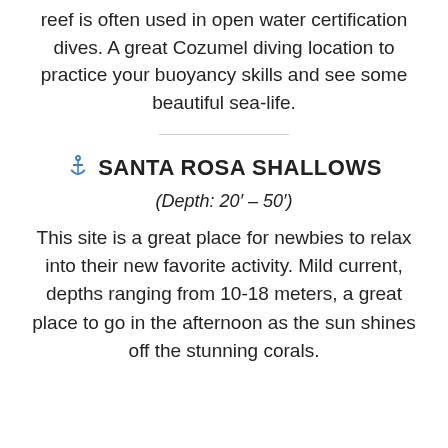reef is often used in open water certification dives. A great Cozumel diving location to practice your buoyancy skills and see some beautiful sea-life.
⚓ SANTA ROSA SHALLOWS
(Depth: 20′ – 50′)
This site is a great place for newbies to relax into their new favorite activity. Mild current, depths ranging from 10-18 meters, a great place to go in the afternoon as the sun shines off the stunning corals.